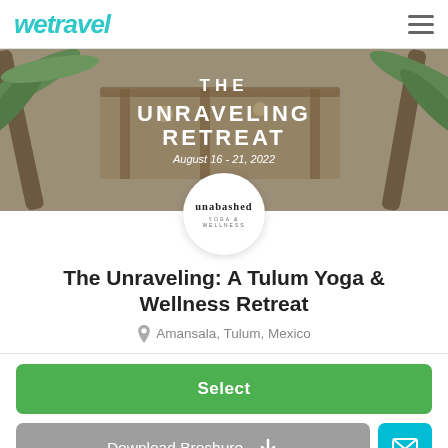wetravel
[Figure (photo): Hero image of a tropical palm-tree and open-air wooden structure retreat venue. Overlaid text: THE UNRAVELING RETREAT, August 16 - 21, 2022]
[Figure (logo): Circular white badge with 'unabashed YOGA & WELLNESS' logo text]
The Unraveling: A Tulum Yoga & Wellness Retreat
Amansala, Tulum, Mexico
Select
Download Brochure